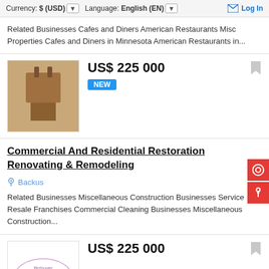Currency: $ (USD) Language: English (EN) Log In
Related Businesses Cafes and Diners American Restaurants Misc Properties Cafes and Diners in Minnesota American Restaurants in...
US$ 225 000 NEW
Commercial And Residential Restoration Renovating & Remodeling
Backus
Related Businesses Miscellaneous Construction Businesses Service Resale Franchises Commercial Cleaning Businesses Miscellaneous Construction...
US$ 225 000
Social Media Agency